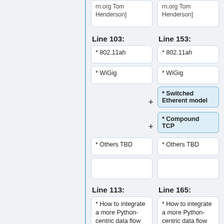rn.org Tom Henderson]
rn.org Tom Henderson]
Line 103:
Line 153:
* 802.11ah
* 802.11ah
* WiGig
* WiGig
* Switched Etherent model
* Compound TCP
* Others TBD
* Others TBD
Line 113:
Line 165:
* How to integrate a more Python-centric data flow and tools, such as
* How to integrate a more Python-centric data flow and tools, such as